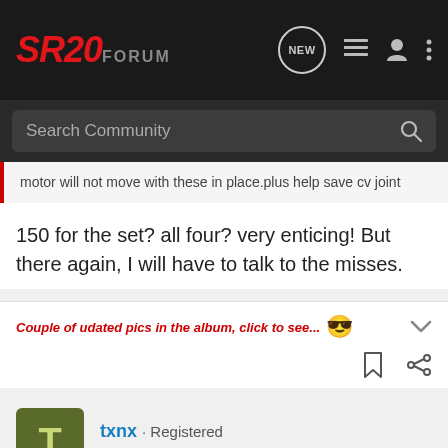SR20FORUM
Search Community
motor will not move with these in place.plus help save cv joint
150 for the set? all four? very enticing! But there again, I will have to talk to the misses.
Couple of udated pics in the album, click to see...
txnx · Registered
Joined Jan 11, 2003 · 1,089 Posts